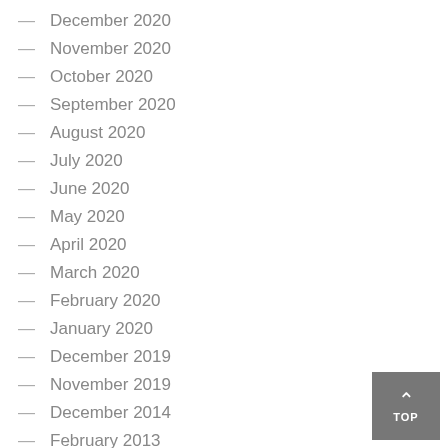— December 2020
— November 2020
— October 2020
— September 2020
— August 2020
— July 2020
— June 2020
— May 2020
— April 2020
— March 2020
— February 2020
— January 2020
— December 2019
— November 2019
— December 2014
— February 2013